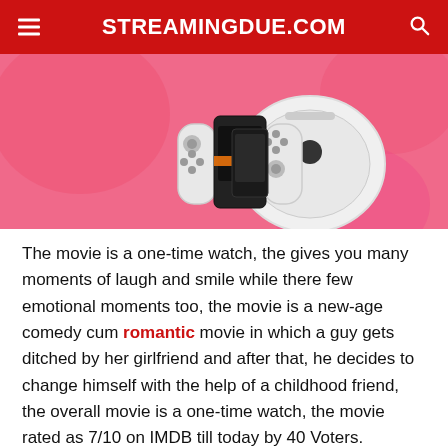STREAMINGDUE.COM
[Figure (illustration): Pink/rose background with gaming and tech devices — Nintendo Switch controllers, a robot vacuum cleaner, and a gaming device with orange accent stripe.]
The movie is a one-time watch, the gives you many moments of laugh and smile while there few emotional moments too, the movie is a new-age comedy cum romantic movie in which a guy gets ditched by her girlfriend and after that, he decides to change himself with the help of a childhood friend, the overall movie is a one-time watch, the movie rated as 7/10 on IMDB till today by 40 Voters.
I Love You, Stupid Netflix Plot